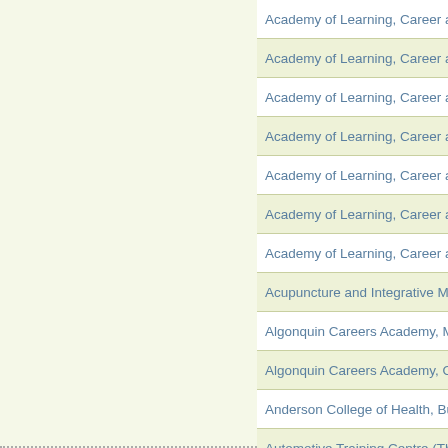Academy of Learning, Career an...
Academy of Learning, Career an...
Academy of Learning, Career an...
Academy of Learning, Career an...
Academy of Learning, Career an...
Academy of Learning, Career an...
Academy of Learning, Career an...
Acupuncture and Integrative Med...
Algonquin Careers Academy, Mis...
Algonquin Careers Academy, Ott...
Anderson College of Health, Bus...
Automotive Training Centre (The...
Aveda Institute (The), Toronto
Avola College Of Hairstyling and...
BioTech College Health Science...